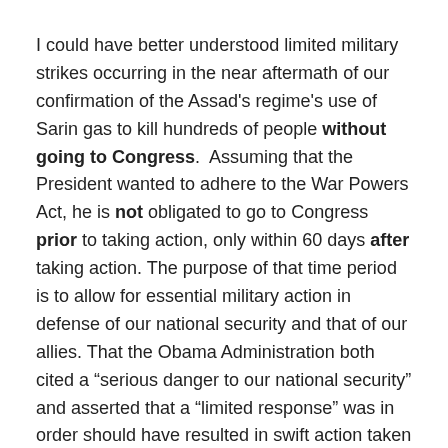I could have better understood limited military strikes occurring in the near aftermath of our confirmation of the Assad's regime's use of Sarin gas to kill hundreds of people without going to Congress.  Assuming that the President wanted to adhere to the War Powers Act, he is not obligated to go to Congress prior to taking action, only within 60 days after taking action. The purpose of that time period is to allow for essential military action in defense of our national security and that of our allies. That the Obama Administration both cited a “serious danger to our national security” and asserted that a “limited response” was in order should have resulted in swift action taken long ago at this point.
What action might have made sense then and what might make sense now?